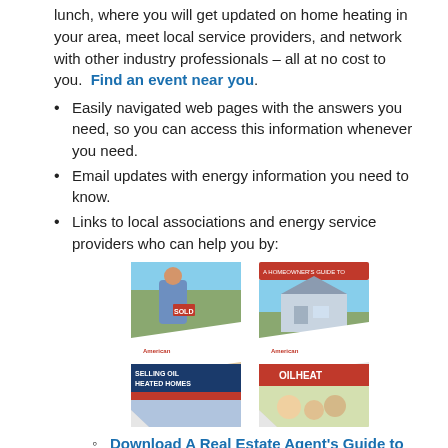lunch, where you will get updated on home heating in your area, meet local service providers, and network with other industry professionals – all at no cost to you. Find an event near you.
Easily navigated web pages with the answers you need, so you can access this information whenever you need.
Email updates with energy information you need to know.
Links to local associations and energy service providers who can help you by:
[Figure (photo): Two American Energy Coalition brochures side by side: 'A Real Estate Agent's Guide to Selling Oil Heated Homes' and 'A Homeowner's Guide to Oilheat']
Download A Real Estate Agent's Guide to Selling Oil Heated Homes
Download A Homeowner's Guide to Oilheat
Performing Oilheat system startups in homes you are showing